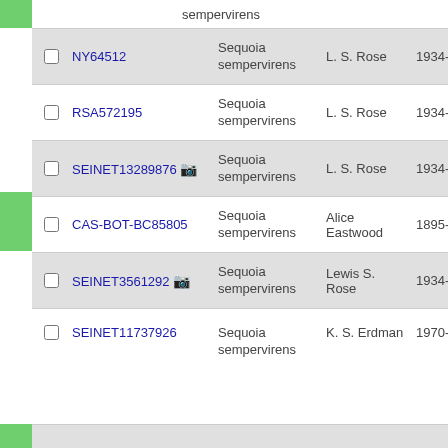|  | ID | Species | Collector | Date | Extra |
| --- | --- | --- | --- | --- | --- |
| ☐ | NY64512 | Sequoia sempervirens | L. S. Rose | 1934-1-29 | 34 |
| ☐ | RSA572195 | Sequoia sempervirens | L. S. Rose | 1934-1-29 | 34 |
| ☐ | SEINET13289876 📷 | Sequoia sempervirens | L. S. Rose | 1934-1 |  |
| ☐ | CAS-BOT-BC85805 | Sequoia sempervirens | Alice Eastwood | 1895-2-10 | s. |
| ☐ | SEINET3561292 📷 | Sequoia sempervirens | Lewis S. Rose | 1934-1-29 | 34 |
| ☐ | SEINET11737926 | Sequoia sempervirens | K. S. Erdman | 1970-1 | 48 |